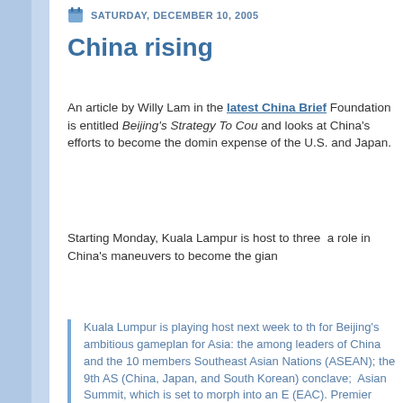SATURDAY, DECEMBER 10, 2005
China rising
An article by Willy Lam in the latest China Brief Foundation is entitled Beijing's Strategy To Cou... and looks at China's efforts to become the dominant power at the expense of the U.S. and Japan.
Starting Monday, Kuala Lampur is host to three ... a role in China's maneuvers to become the giant...
Kuala Lumpur is playing host next week to the ... for Beijing's ambitious gameplan for Asia: the ... among leaders of China and the 10 members of Southeast Asian Nations (ASEAN); the 9th AS... (China, Japan, and South Korean) conclave; ... Asian Summit, which is set to morph into an E... (EAC). Premier Wen Jiabao, who is visiting B... lead a large delegation to Malaysia. Of the th... Lumpur, the EAC—dubbed Asia's answer to t... Community—has attracted the most attention... will group together the "ASEAN plus three" na... Australia, New Zealand, and India. Part of th... academic communities' interest in the East...